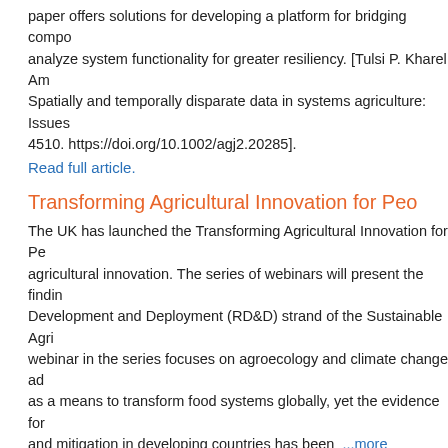paper offers solutions for developing a platform for bridging components to analyze system functionality for greater resiliency. [Tulsi P. Kharel Am... Spatially and temporally disparate data in systems agriculture: Issues... 4510. https://doi.org/10.1002/agj2.20285].
Read full article.
Transforming Agricultural Innovation for Peo...
The UK has launched the Transforming Agricultural Innovation for Pe... agricultural innovation. The series of webinars will present the findin... Development and Deployment (RD&D) strand of the Sustainable Agri... webinar in the series focuses on agroecology and climate change ad... as a means to transform food systems globally, yet the evidence for... and mitigation in developing countries has been ...more
Read full article.
Making Crop Data Sharing Responsible and Re...
A GODAN webinar with Professor Sabina Lionelli and Dr. Hugh William... and Reliable that took place recently. The speakers concentrated on... strategies for precision agriculture. The recording of the event is now...
Read full article.
Data Sharing Toolkit